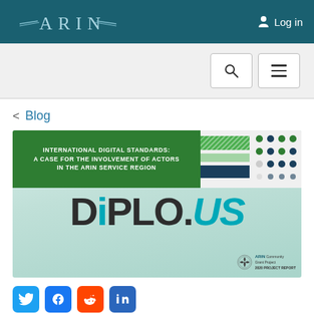ARIN — Log in
[Figure (screenshot): ARIN website navigation bar with ARIN logo on left and Log in button on right, teal/dark background]
< Blog
[Figure (illustration): DIPLO.US report cover image. Header reads: INTERNATIONAL DIGITAL STANDARDS: A CASE FOR THE INVOLVEMENT OF ACTORS IN THE ARIN SERVICE REGION. Large DIPLO.US logo in center. ARIN Community Grant Project 2020 Project Report watermark at bottom right.]
[Figure (logo): Social media sharing icons: Twitter (blue bird), Facebook (blue f), Reddit (orange alien), LinkedIn (blue in)]